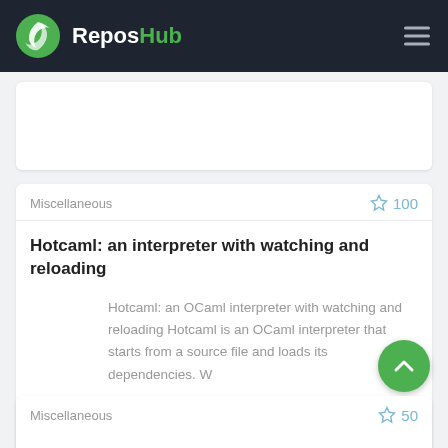ReposHub
Miscellaneous  100
Hotcaml: an interpreter with watching and reloading
Hotcaml: an OCaml interpreter with watching and reloading Hotcaml is an OCaml interpreter that starts from a source file and loads its dependencies. W
Miscellaneous  50